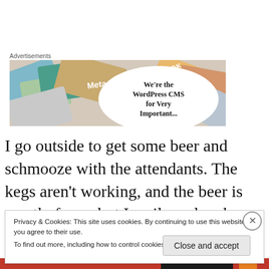Advertisements
[Figure (screenshot): Advertisement banner showing colorful cards/tiles with Meta and Facebook logos and text reading 'We're the WordPress CMS for Very Important...']
I go outside to get some beer and schmooze with the attendants. The kegs aren't working, and the beer is mostly foam, but I smile and make sure to tip them each
Privacy & Cookies: This site uses cookies. By continuing to use this website, you agree to their use.
To find out more, including how to control cookies, see here: Cookie Policy